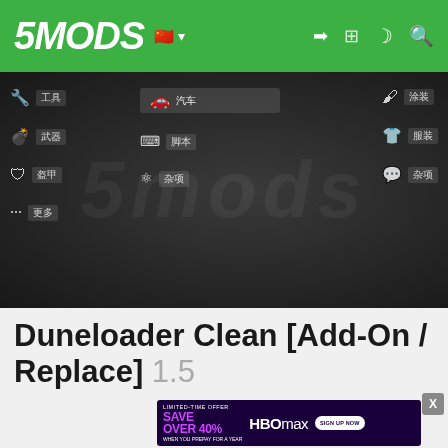5MODS [navigation header with logo, flag, login, dark mode, search icons]
[Figure (screenshot): 5mods website navigation hero banner with dark background showing category nav icons (tools, vehicles, scripts, misc, paint, clothing, misc) and site logo watermark]
Duneloader Clean [Add-On / Replace] 1.5
[Figure (screenshot): HBO Max advertisement banner: LIMITED-TIME OFFER SAVE OVER 40% WHEN YOU PREPAY FOR A YEAR, with SIGN UP NOW button]